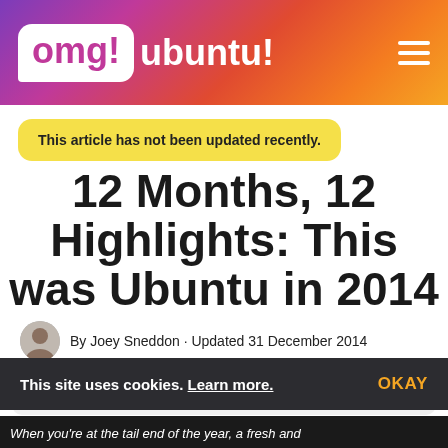omg! ubuntu!
This article has not been updated recently.
12 Months, 12 Highlights: This was Ubuntu in 2014
By Joey Sneddon · Updated 31 December 2014
Tweet  Post  Send  81
This site uses cookies. Learn more.  OKAY
When you're at the tail end of the year, a fresh and